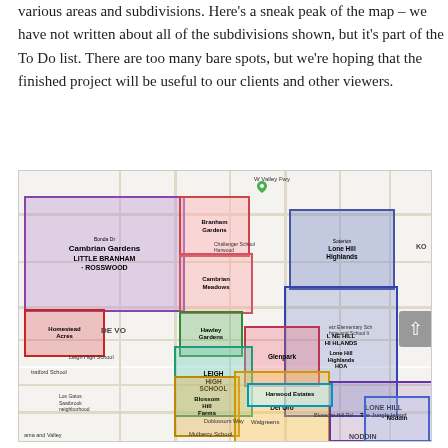various areas and subdivisions. Here's a sneak peak of the map – we have not written about all of the subdivisions shown, but it's part of the To Do list. There are too many bare spots, but we're hoping that the finished project will be useful to our clients and other viewers.
[Figure (map): A Google Maps style map showing various neighborhoods and subdivisions in what appears to be the San Jose/Los Gatos area of California, including: Cambrian Gardens, Branham Gardens, Little Branham - Rosswood, Lone Hill Highlands, Homestead Acres, Hawley Gardens, Cambrian Meadows, Glenpark, Lone Hill Highlands HOA, Lone Hill (The Jungle Island), Blossom Hill Farms, Del Oro, Harwood Estates, Noddin, and others.]